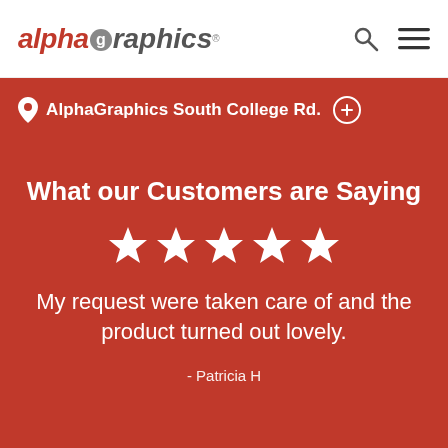[Figure (logo): AlphaGraphics logo with stylized 'alpha' in red italic and 'graphics' in grey italic, with a circular 'g' icon]
AlphaGraphics South College Rd.
What our Customers are Saying
[Figure (illustration): Five white star rating icons in a row]
My request were taken care of and the product turned out lovely.
- Patricia H